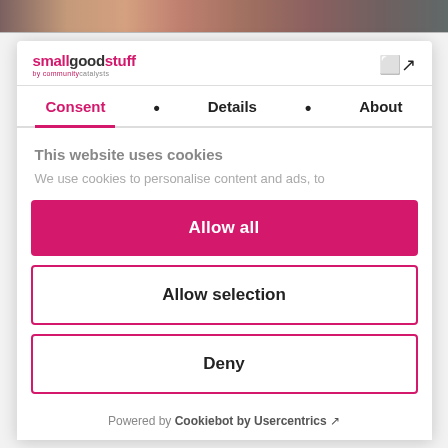[Figure (photo): Blurred photo strip showing people's faces at the top of the page]
smallgoodstuff by communitycatalysts
Consent • Details • About
This website uses cookies
We use cookies to personalise content and ads, to
Allow all
Allow selection
Deny
Powered by Cookiebot by Usercentrics